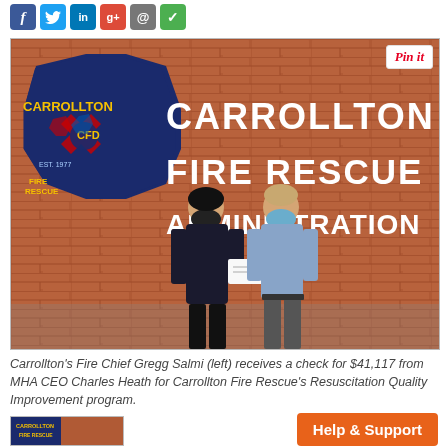[Figure (photo): Social media sharing icons: Facebook (blue f), Twitter (blue bird), LinkedIn (in), Google+ (g+), Email (@), Checkmark (green)]
[Figure (photo): Two men wearing face masks standing in front of a brick wall with Carrollton Fire Rescue Administration sign and CFD shield logo. One man in dark fire department uniform, one in light blue shirt. They are holding a check between them. A 'Pin it' button overlay is visible in the top right corner of the image.]
Carrollton's Fire Chief Gregg Salmi (left) receives a check for $41,117 from MHA CEO Charles Heath for Carrollton Fire Rescue's Resuscitation Quality Improvement program.
[Figure (photo): Small thumbnail image of Carrollton Fire Rescue, partially visible at bottom left]
Help & Support